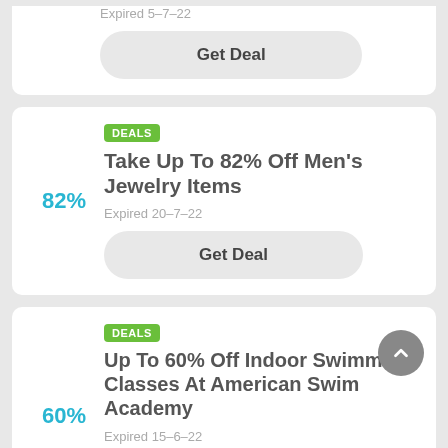Expired 5-7-22
Get Deal
DEALS
Take Up To 82% Off Men's Jewelry Items
82%
Expired 20-7-22
Get Deal
DEALS
Up To 60% Off Indoor Swimming Classes At American Swim Academy
60%
Expired 15-6-22